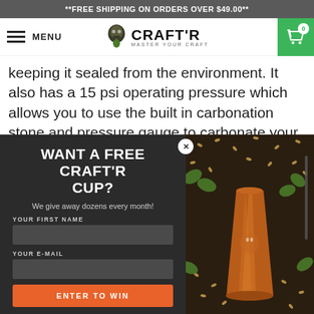**FREE SHIPPING ON ORDERS OVER $49.00**
[Figure (logo): Craft'r logo with skull icon and tagline 'Master Your Craft']
keeping it sealed from the environment. It also has a 15 psi operating pressure which allows you to use the built in carbonation stone and pressure gauge to carbonate your beer.
[Figure (screenshot): Popup modal with dark background, title 'WANT A FREE CRAFT'R CUP?', subtitle 'We give away dozens every month!', form fields for YOUR FIRST NAME and YOUR E-MAIL, and ENTER TO WIN button. Right side shows photo of a copper tumbler cup surrounded by hops and grains.]